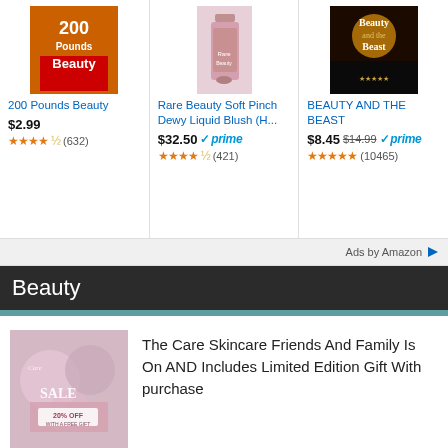[Figure (screenshot): Amazon ad strip with three product listings: 200 Pounds Beauty, Rare Beauty Soft Pinch Dewy Liquid Blush, and Beauty and the Beast]
200 Pounds Beauty
$2.99
★★★★½ (632)
Rare Beauty Soft Pinch Dewy Liquid Blush (H...
$32.50 ✓prime
★★★★½ (421)
BEAUTY AND THE BEAST
$8.45 $14.99 ✓prime
★★★★★ (10465)
Ads by Amazon
Beauty
The Care Skincare Friends And Family Is On AND Includes Limited Edition Gift With purchase
Meet Ricardo Quintero, former Clinique Executive Turned Start Up Skin Care Founder